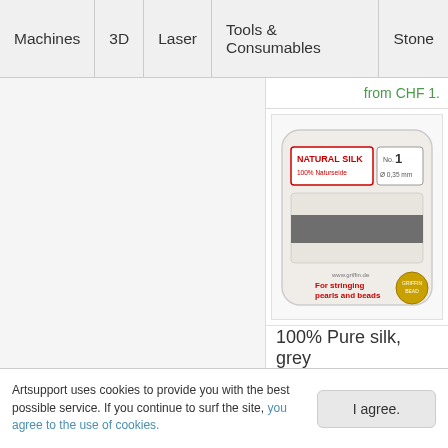Machines | 3D | Laser | Tools & Consumables | Stone
from CHF 1.
[Figure (photo): Natural Silk thread card - 100% Naturseide, No. 1, Ø 0.35 mm, grey thread wound on card, for stringing pearls and beads, Griffin brand]
100% Pure silk, grey
Artsupport uses cookies to provide you with the best possible service. If you continue to surf the site, you agree to the use of cookies.
I agree.